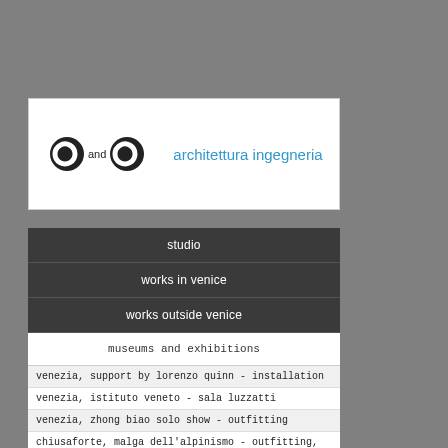[Figure (logo): C and C architettura ingegneria logo with two circular C letters and a vertical divider bar followed by blue text]
studio
works in venice
works outside venice
museums and exhibitions
venezia, support by lorenzo quinn - installation
venezia, istituto veneto - sala luzzatti
venezia, zhong biao solo show - outfitting
chiusaforte, malga dell'alpinismo - outfitting, concept
venezia, officina delle zattere - set up
chiusaforte, forte, MGGM - museum concept